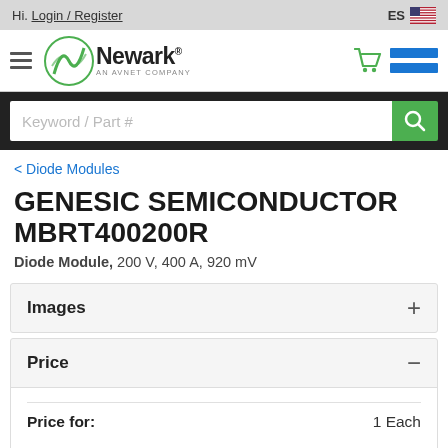Hi. Login / Register   ES
[Figure (logo): Newark - An Avnet Company logo with cart icon and navigation lines]
Keyword / Part # [search input]
< Diode Modules
GENESIC SEMICONDUCTOR MBRT400200R
Diode Module, 200 V, 400 A, 920 mV
Images +
Price −
| Price for: | 1 Each |
| --- | --- |